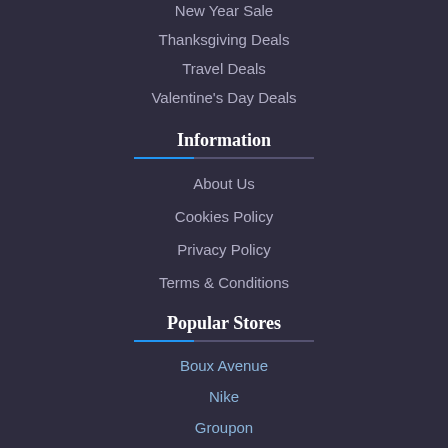New Year Sale
Thanksgiving Deals
Travel Deals
Valentine's Day Deals
Information
About Us
Cookies Policy
Privacy Policy
Terms & Conditions
Popular Stores
Boux Avenue
Nike
Groupon
Dell